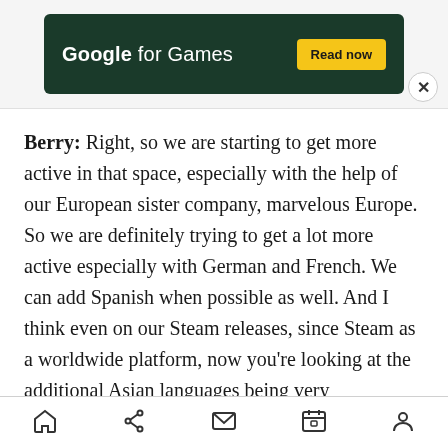[Figure (screenshot): Google for Games advertisement banner with dark green background, white text reading 'Google for Games', a yellow 'Read now' button, and a close (X) button in the bottom-right corner.]
Berry: Right, so we are starting to get more active in that space, especially with the help of our European sister company, marvelous Europe. So we are definitely trying to get a lot more active especially with German and French. We can add Spanish when possible as well. And I think even on our Steam releases, since Steam as a worldwide platform, now you’re looking at the additional Asian languages being very important — traditional and simplified Chinese as well as Korean if you can.
[Figure (screenshot): Mobile navigation bar with five icons: home, share, mail, calendar, and user/profile.]